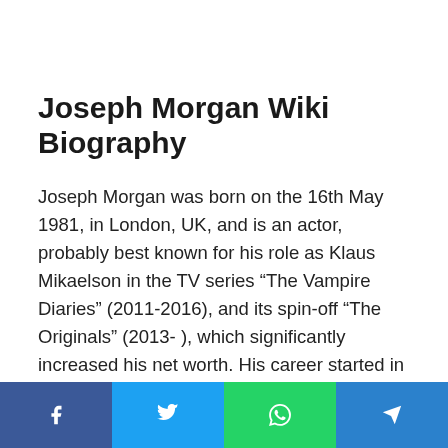Joseph Morgan Wiki Biography
Joseph Morgan was born on the 16th May 1981, in London, UK, and is an actor, probably best known for his role as Klaus Mikaelson in the TV series “The Vampire Diaries” (2011-2016), and its spin-off “The Originals” (2013- ), which significantly increased his net worth. His career started in 2002.